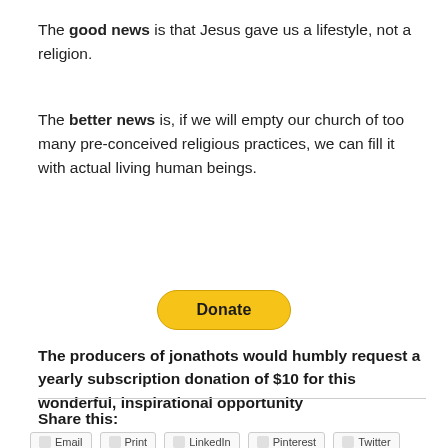The good news is that Jesus gave us a lifestyle, not a religion.
The better news is, if we will empty our church of too many pre-conceived religious practices, we can fill it with actual living human beings.
[Figure (other): Yellow PayPal Donate button with rounded corners]
The producers of jonathots would humbly request a yearly subscription donation of $10 for this wonderful, inspirational opportunity
Share this:
[Figure (other): Row of social share buttons partially visible at bottom of page]